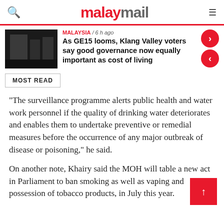malaymail
[Figure (screenshot): Dark photo thumbnail of an indoor scene]
MALAYSIA / 6 h ago
As GE15 looms, Klang Valley voters say good governance now equally important as cost of living
MOST READ
“The surveillance programme alerts public health and water work personnel if the quality of drinking water deteriorates and enables them to undertake preventive or remedial measures before the occurrence of any major outbreak of disease or poisoning,” he said.
On another note, Khairy said the MOH will table a new act in Parliament to ban smoking as well as vaping and possession of tobacco products, in July this year.